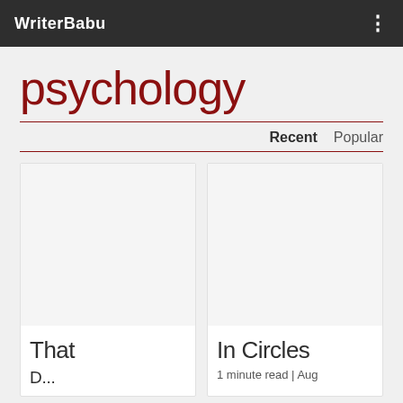WriterBabu
psychology
Recent   Popular
[Figure (other): Article card image placeholder (left card) - blank white/light gray rectangle]
That
[Figure (other): Article card image placeholder (right card) - blank white/light gray rectangle]
In Circles
1 minute read | Aug